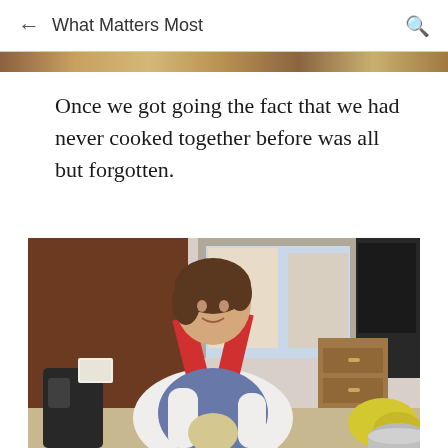What Matters Most
Once we got going the fact that we had never cooked together before was all but forgotten.
[Figure (photo): A woman wearing a white long-sleeve shirt and a red and blue floral apron is peeling or holding a potato/onion in what appears to be an office kitchen setting. She is smiling slightly. In the background there are kitchen appliances, filing cabinets, and office furniture visible through a window.]